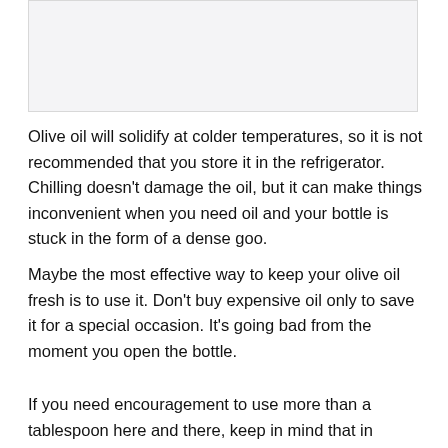[Figure (other): Blank light gray image placeholder at the top of the page]
Olive oil will solidify at colder temperatures, so it is not recommended that you store it in the refrigerator. Chilling doesn't damage the oil, but it can make things inconvenient when you need oil and your bottle is stuck in the form of a dense goo.
Maybe the most effective way to keep your olive oil fresh is to use it. Don't buy expensive oil only to save it for a special occasion. It's going bad from the moment you open the bottle.
If you need encouragement to use more than a tablespoon here and there, keep in mind that in